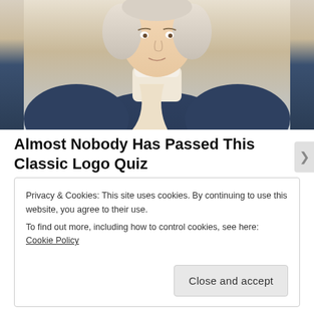[Figure (illustration): Illustrated character in colonial-era dark navy coat with white cravat/jabot, shown from chest up, with light gray hair, against a light background.]
Almost Nobody Has Passed This Classic Logo Quiz
WarpedSpeed
Share this:
Twitter  Pinterest  Facebook
Privacy & Cookies: This site uses cookies. By continuing to use this website, you agree to their use.
To find out more, including how to control cookies, see here: Cookie Policy
Close and accept